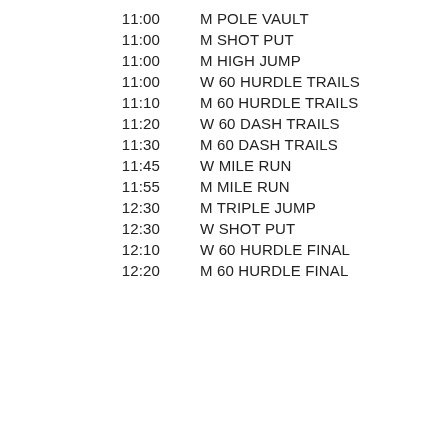11:00   M POLE VAULT
11:00   M SHOT PUT
11:00   M HIGH JUMP
11:00   W 60 HURDLE TRAILS
11:10   M 60 HURDLE TRAILS
11:20   W 60 DASH TRAILS
11:30   M 60 DASH TRAILS
11:45   W MILE RUN
11:55   M MILE RUN
12:30   M TRIPLE JUMP
12:30   W SHOT PUT
12:10   W 60 HURDLE FINAL
12:20   M 60 HURDLE FINAL